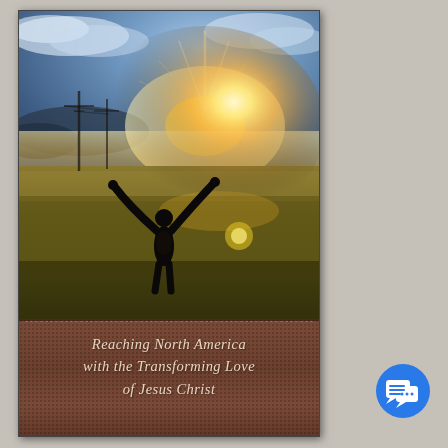[Figure (photo): Book cover showing a person standing in a golden wheat field with arms outstretched, facing a brilliant sunset with rays of light, dramatic sky with clouds, silhouette against the sun. Below the photo is a brown leather-textured section with the book title in italic text.]
Reaching North America with the Transforming Love of Jesus Christ